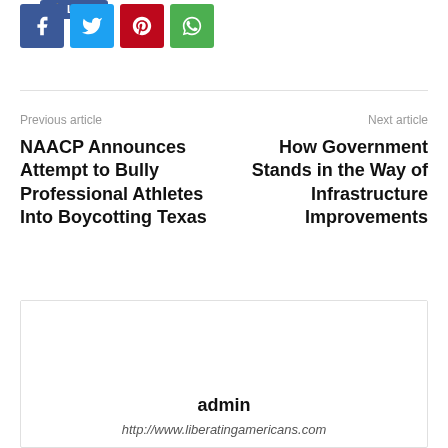[Figure (other): Social share buttons: Facebook (blue), Twitter (cyan), Pinterest (red), WhatsApp (green)]
Previous article
Next article
NAACP Announces Attempt to Bully Professional Athletes Into Boycotting Texas
How Government Stands in the Way of Infrastructure Improvements
admin
http://www.liberatingamericans.com